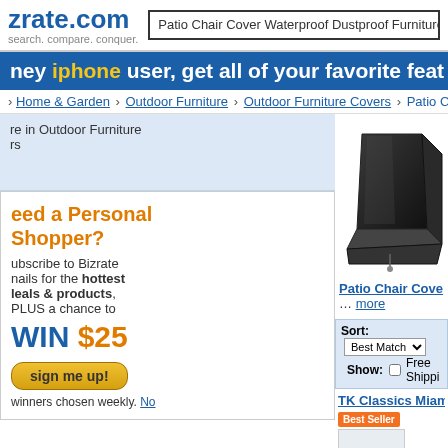zrate.com – search. compare. conquer. | Patio Chair Cover Waterproof Dustproof Furniture R
ney iphone user, get all of your favorite feat
> Home & Garden › Outdoor Furniture › Outdoor Furniture Covers › Patio Cha
re in Outdoor Furniture rs
[Figure (photo): Black patio chair cover, waterproof, dustproof, shown as a standalone product photo on a white background.]
Patio Chair Cove ... more
eed a Personal Shopper? Subscribe to Bizrate emails for the hottest deals & products, PLUS a chance to WIN $25 sign me up! winners chosen weekly. No
Sort: Best Match  Show: ☐ Free Shippi
TK Classics Miami Protective
Best Seller
Protect your investment and add years to your outdoor furnishings with custom heavy duty patio covers. The elegant allows these covers to blend into any